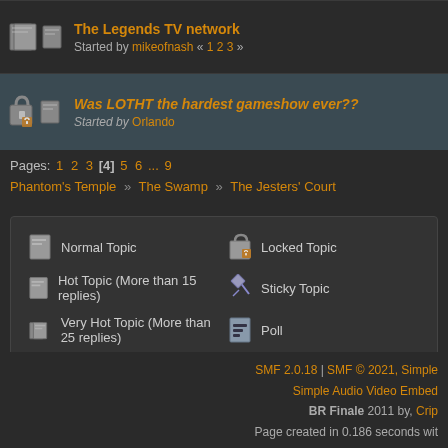The Legends TV network — Started by mikeofnash « 1 2 3 »
Was LOTHT the hardest gameshow ever?? — Started by Orlando
Pages: 1 2 3 [4] 5 6 ... 9
Phantom's Temple » The Swamp » The Jesters' Court
Normal Topic | Locked Topic | Hot Topic (More than 15 replies) | Sticky Topic | Very Hot Topic (More than 25 replies) | Poll
SMF 2.0.18 | SMF © 2021, Simple — Simple Audio Video Embed — BR Finale 2011 by, Crip — Page created in 0.186 seconds wit